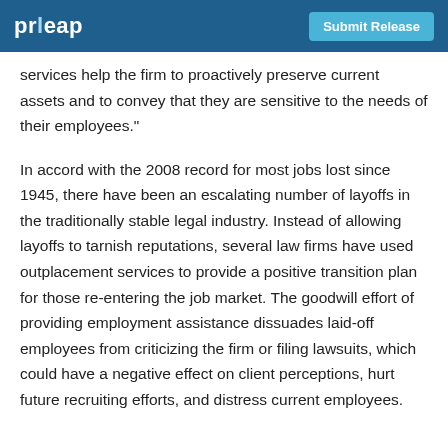prleap  Submit Release
services help the firm to proactively preserve current assets and to convey that they are sensitive to the needs of their employees."
In accord with the 2008 record for most jobs lost since 1945, there have been an escalating number of layoffs in the traditionally stable legal industry. Instead of allowing layoffs to tarnish reputations, several law firms have used outplacement services to provide a positive transition plan for those re-entering the job market. The goodwill effort of providing employment assistance dissuades laid-off employees from criticizing the firm or filing lawsuits, which could have a negative effect on client perceptions, hurt future recruiting efforts, and distress current employees.